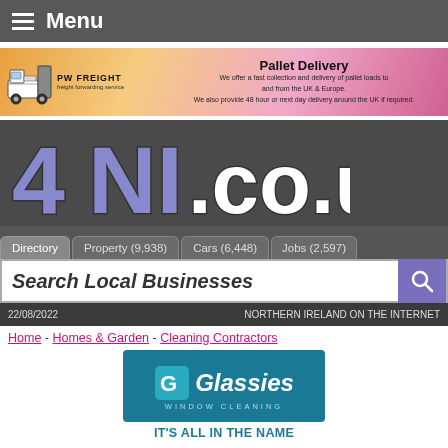Menu
[Figure (photo): PW Freight advertisement banner — Pallet Delivery. Truck logo with text: PW FREIGHT freight forwarding service. Ad copy: We offer a fast collection and delivery of pallet loads to and from the UK & Europe. We also provide 48 hour or next day delivery around the UK if required.]
[Figure (logo): 4NI.co.uk website logo in large bold purple/grey lettering on dark background]
Directory  Property (9,938)  Cars (6,448)  Jobs (2,597)
Search Local Businesses
22/08/2022   NORTHERN IRELAND ON THE INTERNET
Home - Homes & Garden - Cleaning Contractors
[Figure (logo): Glassies Window Cleaning logo — teal/blue square G icon with 'Glassies' text and 'WINDOW CLEANING' underneath. Tagline: IT'S ALL IN THE NAME]
Glassies Wind...